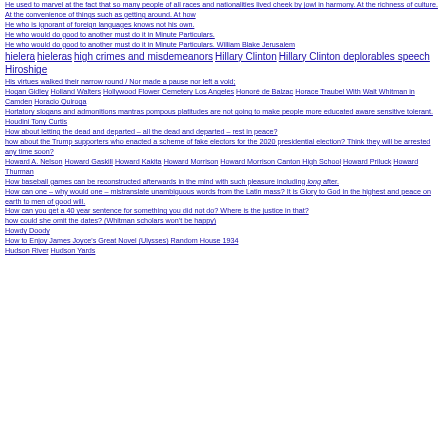He used to marvel at the fact that so many people of all races and nationalities lived cheek by jowl in harmony. At the richness of culture. At the convenience of things such as getting around. At how
He who is ignorant of foreign languages knows not his own.
He who would do good to another must do it in Minute Particulars.
He who would do good to another must do it in Minute Particulars. William Blake Jerusalem
hielera hieleras high crimes and misdemeanors Hillary Clinton Hillary Clinton deplorables speech Hiroshige
His virtues walked their narrow round / Nor made a pause nor left a void;
Hogan Gidley Holland Walters Hollywood Flower Cemetery Los Angeles Honoré de Balzac Horace Traubel With Walt Whitman in Camden Horacio Quiroga
Hortatory slogans and admonitions mantras pompous platitudes are not going to make people more educated aware sensitive tolerant.
Houdini Tony Curtis
How about letting the dead and departed – all the dead and departed – rest in peace?
how about the Trump supporters who enacted a scheme of fake electors for the 2020 presidential election? Think they will be arrested any time soon?
Howard A. Nelson Howard Gaskill Howard Kakita Howard Morrison Howard Morrison Canton High School Howard Priluck Howard Thurman
How baseball games can be reconstructed afterwards in the mind with such pleasure including long after.
How can one – why would one – mistranslate unambiguous words from the Latin mass? It is Glory to God in the highest and peace on earth to men of good will.
How can you get a 40 year sentence for something you did not do? Where is the justice in that?
how could she omit the dates? (Whitman scholars won't be happy)
Howdy Doody
How to Enjoy James Joyce's Great Novel (Ulysses) Random House 1934
Hudson River Hudson Yards